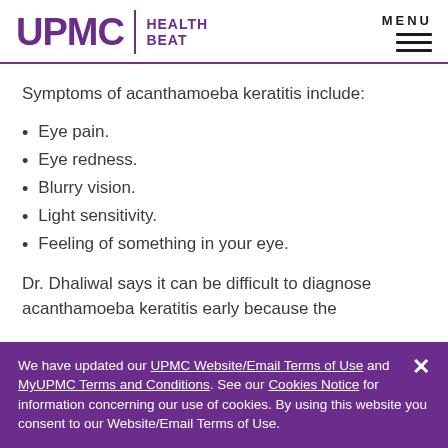UPMC HEALTH BEAT
Symptoms of acanthamoeba keratitis include:
Eye pain.
Eye redness.
Blurry vision.
Light sensitivity.
Feeling of something in your eye.
Dr. Dhaliwal says it can be difficult to diagnose acanthamoeba keratitis early because the
We have updated our UPMC Website/Email Terms of Use and MyUPMC Terms and Conditions. See our Cookies Notice for information concerning our use of cookies. By using this website you consent to our Website/Email Terms of Use.